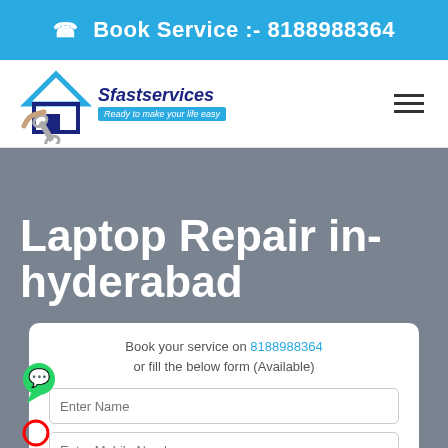☎ Book Service :- 8188988364
[Figure (logo): Sfastservices logo with house and wrench icon, tagline: Ready to make your life easy]
Laptop Repair in-hyderabad
Book your service on 8188988364 or fill the below form (Available)
Enter Name
Enter Mobile Number